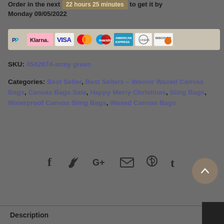Order in the next 22 hours 25 minutes to get it by Monday 09/05/2022
[Figure (other): Payment method icons: PayPal, Klarna, VISA, Mastercard, Maestro, American Express, Diners Club, Discover]
SKU: 4542874-army green
Categories: Best Seller, Best Sellers – Woosir Waxed Canvas Bags, Canvas Bags Sale, Happy Merry Christmas, Sling Bags, Waterproof Canvas Sling Bags, Waxed Canvas Bags
[Figure (other): Social sharing icons: Facebook, Twitter, Google+, Email, Pinterest, Tumblr]
[Figure (other): Back to top circular button with upward chevron]
Description